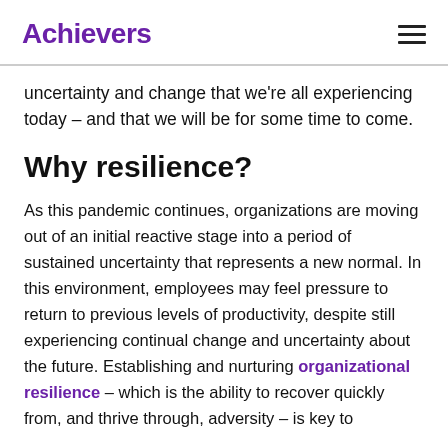Achievers
uncertainty and change that we're all experiencing today – and that we will be for some time to come.
Why resilience?
As this pandemic continues, organizations are moving out of an initial reactive stage into a period of sustained uncertainty that represents a new normal. In this environment, employees may feel pressure to return to previous levels of productivity, despite still experiencing continual change and uncertainty about the future. Establishing and nurturing organizational resilience – which is the ability to recover quickly from, and thrive through, adversity – is key to